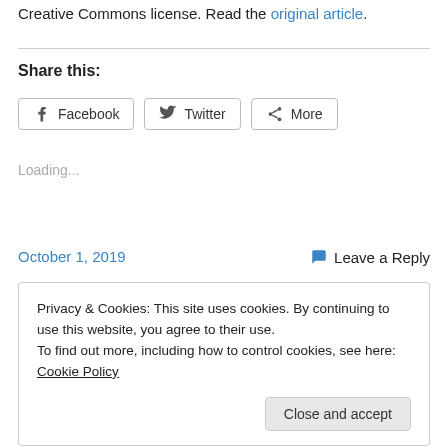Creative Commons license. Read the original article.
Share this:
Loading...
October 1, 2019
Leave a Reply
Privacy & Cookies: This site uses cookies. By continuing to use this website, you agree to their use. To find out more, including how to control cookies, see here: Cookie Policy
Close and accept